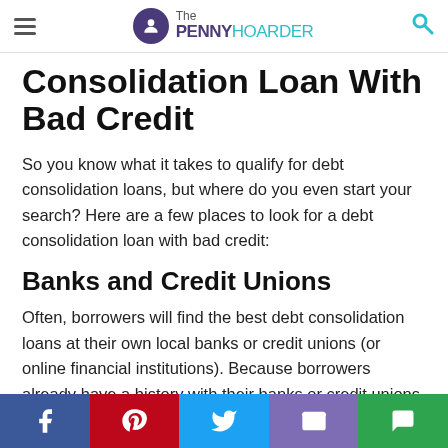The PENNY HOARDER
Consolidation Loan With Bad Credit
So you know what it takes to qualify for debt consolidation loans, but where do you even start your search? Here are a few places to look for a debt consolidation loan with bad credit:
Banks and Credit Unions
Often, borrowers will find the best debt consolidation loans at their own local banks or credit unions (or online financial institutions). Because borrowers already have a history with their banks or credit unions, they are likely to be more flexible
Facebook | Pinterest | Twitter | Email | Chat